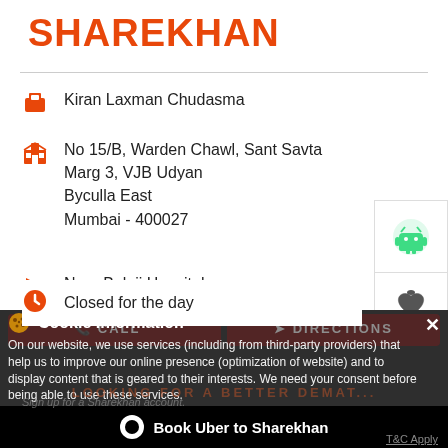SHAREKHAN
Kiran Laxman Chudasma
No 15/B, Warden Chawl, Sant Savta Marg 3, VJB Udyan
Byculla East
Mumbai - 400027
Near Balaji Hospital
Closed for the day
Cookie Information
On our website, we use services (including from third-party providers) that help us to improve our online presence (optimization of website) and to display content that is geared to their interests. We need your consent before being able to use these services.
Book Uber to Sharekhan
T&C Apply